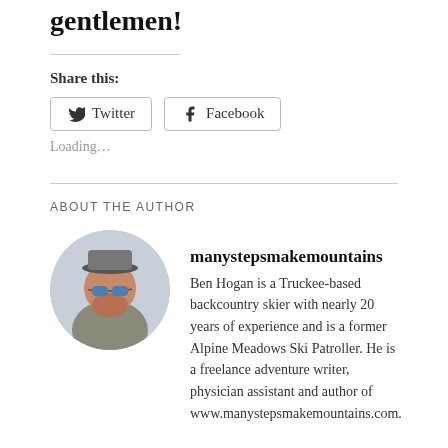gentlemen!
Share this:
Twitter  Facebook
Loading…
ABOUT THE AUTHOR
manystepsmakemountains
Ben Hogan is a Truckee-based backcountry skier with nearly 20 years of experience and is a former Alpine Meadows Ski Patroller. He is a freelance adventure writer, physician assistant and author of www.manystepsmakemountains.com.